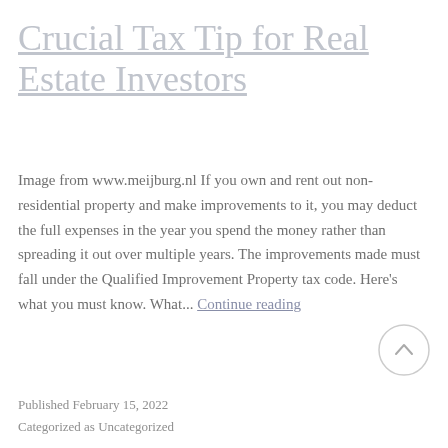Crucial Tax Tip for Real Estate Investors
Image from www.meijburg.nl If you own and rent out non-residential property and make improvements to it, you may deduct the full expenses in the year you spend the money rather than spreading it out over multiple years. The improvements made must fall under the Qualified Improvement Property tax code. Here's what you must know. What... Continue reading
Published February 15, 2022
Categorized as Uncategorized